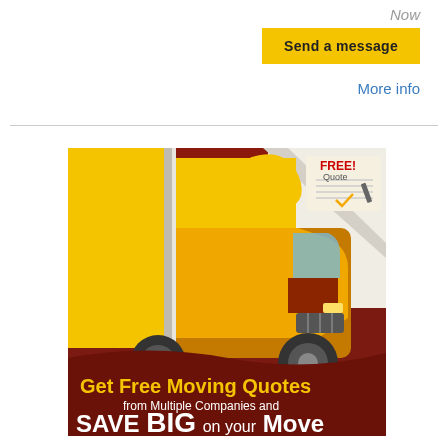Now
Send a message
More info
[Figure (illustration): Moving company advertisement banner. Shows a large yellow moving truck against a dark red background. A page-curl effect in the top-right reveals a document with a checkmark (FREE! Quote label). Bottom text reads: 'Get Free Moving Quotes from Multiple Companies and SAVE BIG on your Move'.]